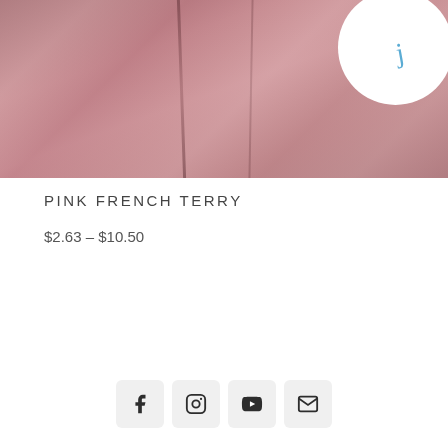[Figure (photo): Pink French Terry fabric draped with folds, with a partial white circular logo in the top right corner showing cursive blue text]
PINK FRENCH TERRY
$2.63 – $10.50
Social icons: Facebook, Instagram, YouTube, Email